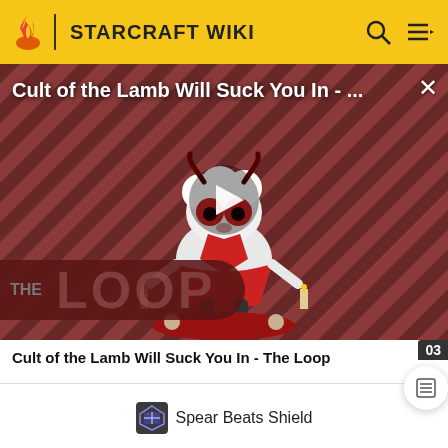STARCRAFT WIKI
[Figure (screenshot): Video thumbnail for 'Cult of the Lamb Will Suck You In - The Loop' showing a cartoon lamb character with red eyes on a striped background with THE LOOP text overlay and a play button]
Cult of the Lamb Will Suck You In - The Loop
Spear Beats Shield
Points  10